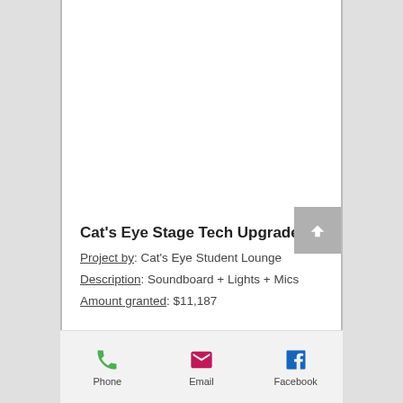Cat's Eye Stage Tech Upgrades
Project by: Cat's Eye Student Lounge
Description: Soundboard + Lights + Mics
Amount granted: $11,187
Phone | Email | Facebook